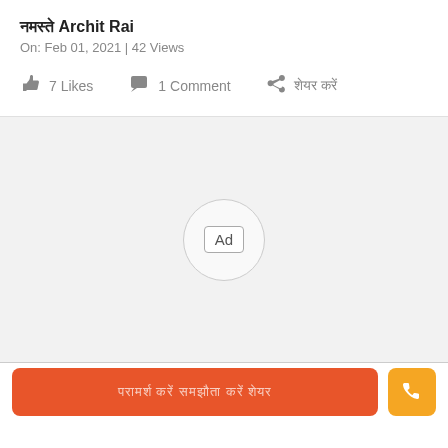नमस्ते Archit Rai
On: Feb 01, 2021 | 42 Views
7 Likes   1 Comment   शेयर करें
[Figure (other): Advertisement placeholder with Ad label in a circle]
परामर्श करें समझौता करें शेयर
[Figure (other): Phone call button icon]